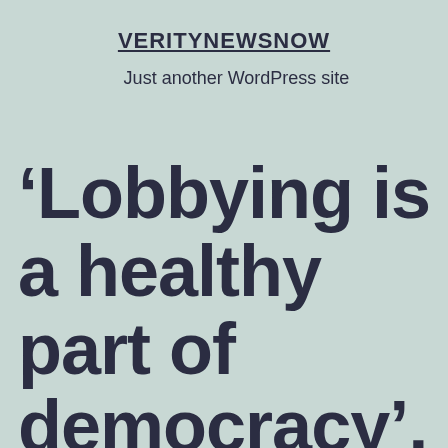VERITYNEWSNOW
Just another WordPress site
‘Lobbying is a healthy part of democracy’, Cameron tells